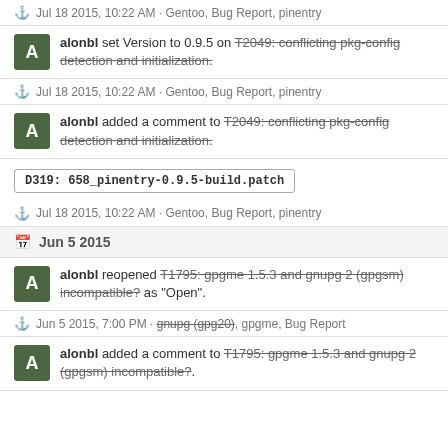Jul 18 2015, 10:22 AM · Gentoo, Bug Report, pinentry
alonbl set Version to 0.9.5 on T2049: conflicting pkg-config detection and initialization.
Jul 18 2015, 10:22 AM · Gentoo, Bug Report, pinentry
alonbl added a comment to T2049: conflicting pkg-config detection and initialization.
D319: 658_pinentry-0.9.5-build.patch
Jul 18 2015, 10:22 AM · Gentoo, Bug Report, pinentry
Jun 5 2015
alonbl reopened T1795: gpgme 1.5.3 and gnupg 2 (gpgsm) incompatible? as "Open".
Jun 5 2015, 7:00 PM · gnupg (gpg20), gpgme, Bug Report
alonbl added a comment to T1795: gpgme 1.5.3 and gnupg 2 (gpgsm) incompatible?.